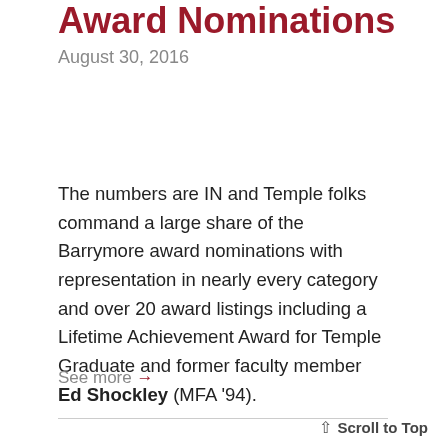Owls crush in Barrymore Award Nominations
August 30, 2016
The numbers are IN and Temple folks command a large share of the Barrymore award nominations with representation in nearly every category and over 20 award listings including a Lifetime Achievement Award for Temple Graduate and former faculty member Ed Shockley (MFA '94).
See more →
↑ Scroll to Top